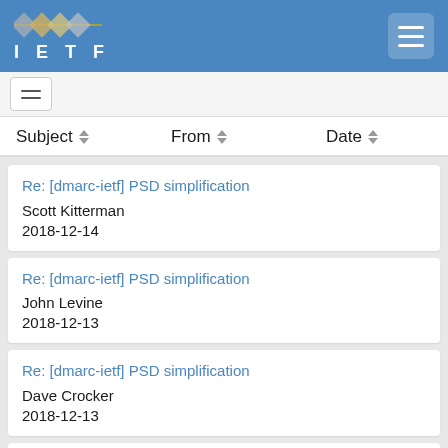IETF
| Subject | From | Date |
| --- | --- | --- |
| Re: [dmarc-ietf] PSD simplification | Scott Kitterman | 2018-12-14 |
| Re: [dmarc-ietf] PSD simplification | John Levine | 2018-12-13 |
| Re: [dmarc-ietf] PSD simplification | Dave Crocker | 2018-12-13 |
| Re: [dmarc-ietf] PSD simplification | Kurt Andersen (b) | 2018-12-13 |